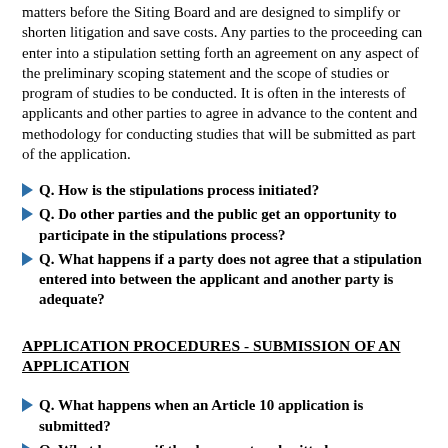matters before the Siting Board and are designed to simplify or shorten litigation and save costs. Any parties to the proceeding can enter into a stipulation setting forth an agreement on any aspect of the preliminary scoping statement and the scope of studies or program of studies to be conducted. It is often in the interests of applicants and other parties to agree in advance to the content and methodology for conducting studies that will be submitted as part of the application.
Q. How is the stipulations process initiated?
Q. Do other parties and the public get an opportunity to participate in the stipulations process?
Q. What happens if a party does not agree that a stipulation entered into between the applicant and another party is adequate?
APPLICATION PROCEDURES - SUBMISSION OF AN APPLICATION
Q. What happens when an Article 10 application is submitted?
Q. What happens if the documents submitted are insufficient to comply with the requirements of the law, regulations and stipulations?
Q. What happens if the documents submitted are sufficient